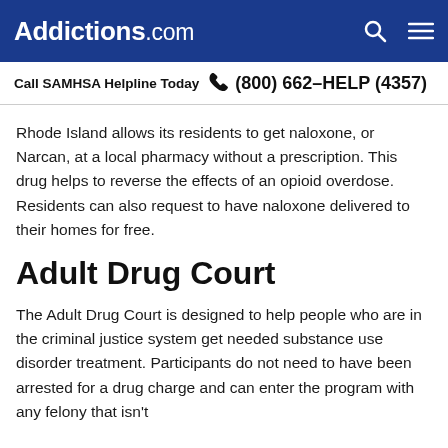Addictions.com
Call SAMHSA Helpline Today  (800) 662-HELP (4357)
Rhode Island allows its residents to get naloxone, or Narcan, at a local pharmacy without a prescription. This drug helps to reverse the effects of an opioid overdose. Residents can also request to have naloxone delivered to their homes for free.
Adult Drug Court
The Adult Drug Court is designed to help people who are in the criminal justice system get needed substance use disorder treatment. Participants do not need to have been arrested for a drug charge and can enter the program with any felony that isn't